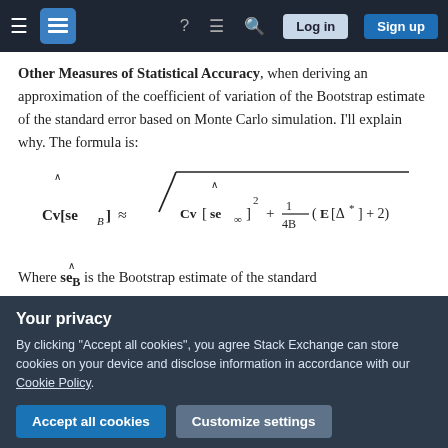Stack Exchange navigation bar with Log in and Sign up buttons
Other Measures of Statistical Accuracy, when deriving an approximation of the coefficient of variation of the Bootstrap estimate of the standard error based on Monte Carlo simulation. I'll explain why. The formula is:
Where se_B is the Bootstrap estimate of the standard
Your privacy
By clicking "Accept all cookies", you agree Stack Exchange can store cookies on your device and disclose information in accordance with our Cookie Policy.
. The randomness comes from two sources. One is